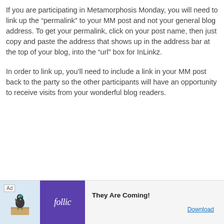If you are participating in Metamorphosis Monday, you will need to link up the “permalink” to your MM post and not your general blog address. To get your permalink, click on your post name, then just copy and paste the address that shows up in the address bar at the top of your blog, into the “url” box for InLinkz.
In order to link up, you’ll need to include a link in your MM post back to the party so the other participants will have an opportunity to receive visits from your wonderful blog readers.
[Figure (other): Advertisement banner showing 'Ad' label, a Rollic game app logo in purple, a bird illustration on a wooden surface, and 'They Are Coming!' text with a Download button link.]